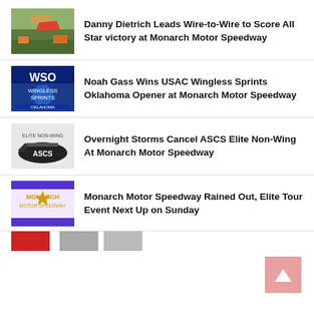[Figure (photo): Sprint car racing photo - Danny Dietrich]
Danny Dietrich Leads Wire-to-Wire to Score All Star victory at Monarch Motor Speedway
[Figure (photo): WSO logo - USAC Wingless Sprints Oklahoma]
Noah Gass Wins USAC Wingless Sprints Oklahoma Opener at Monarch Motor Speedway
[Figure (logo): ASCS Elite Non-Wing logo]
Overnight Storms Cancel ASCS Elite Non-Wing At Monarch Motor Speedway
[Figure (logo): Monarch Motor Speedway logo]
Monarch Motor Speedway Rained Out, Elite Tour Event Next Up on Sunday
[Figure (photo): Partial thumbnail visible at bottom]